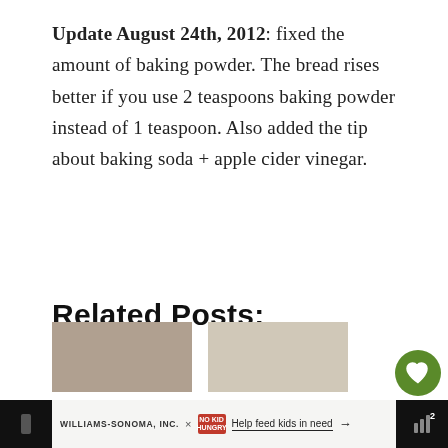Update August 24th, 2012: fixed the amount of baking powder. The bread rises better if you use 2 teaspoons baking powder instead of 1 teaspoon. Also added the tip about baking soda + apple cider vinegar.
Related Posts: